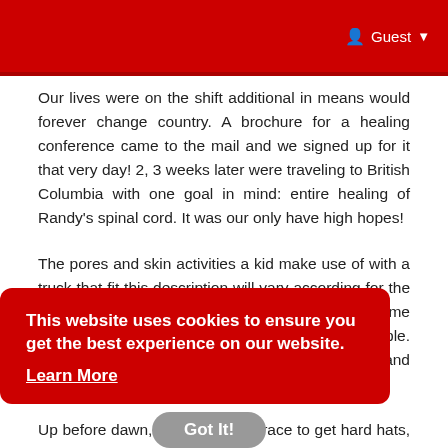Guest
Our lives were on the shift additional in means would forever change country. A brochure for a healing conference came to the mail and we signed up for it that very day! 2, 3 weeks later were traveling to British Columbia with one goal in mind: entire healing of Randy's spinal cord. It was our only have high hopes!
The pores and skin activities a kid make use of with a truck that fit this description will vary according for the type of truck the actual being put into use. Some trucks can mere interactive than a number of people. Most trucks will feature movable loading beds and wheels.
Up before dawn, the usual race to get hard hats, safety vests, and for your whole family to jump into
This website uses cookies to ensure you get the best experience on our website. Learn More
Got It!